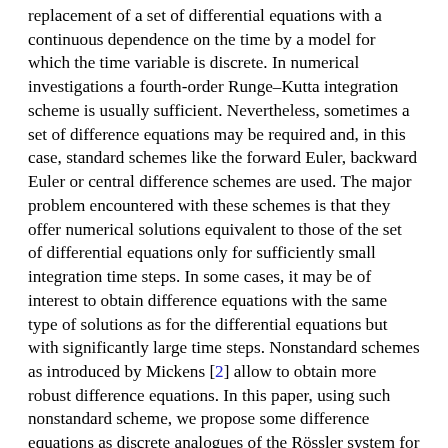replacement of a set of differential equations with a continuous dependence on the time by a model for which the time variable is discrete. In numerical investigations a fourth-order Runge–Kutta integration scheme is usually sufficient. Nevertheless, sometimes a set of difference equations may be required and, in this case, standard schemes like the forward Euler, backward Euler or central difference schemes are used. The major problem encountered with these schemes is that they offer numerical solutions equivalent to those of the set of differential equations only for sufficiently small integration time steps. In some cases, it may be of interest to obtain difference equations with the same type of solutions as for the differential equations but with significantly large time steps. Nonstandard schemes as introduced by Mickens [2] allow to obtain more robust difference equations. In this paper, using such nonstandard scheme, we propose some difference equations as discrete analogues of the Rössler system for which it is shown that the dynamics is less dependent on the time step size than when a nonstandard scheme is used. In particular, it has been observed that the solutions to the discrete models are topologically equivalent to the solutions.